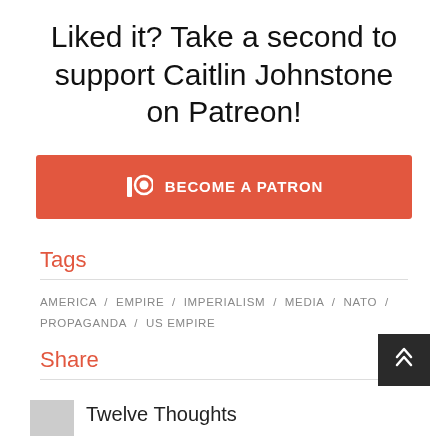Liked it? Take a second to support Caitlin Johnstone on Patreon!
[Figure (other): Orange 'Become a Patron' button with Patreon logo icon]
Tags
AMERICA / EMPIRE / IMPERIALISM / MEDIA / NATO / PROPAGANDA / US EMPIRE
Share
[Figure (other): Social sharing icons: Facebook, Twitter, Google+, LinkedIn, Tumblr, Pinterest, VK]
[Figure (other): Back to top button, dark grey with double up-arrow chevron]
Twelve Thoughts